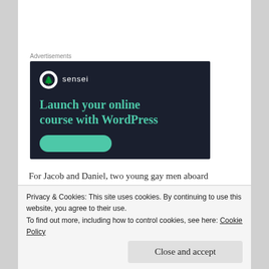Advertisements
[Figure (screenshot): Sensei advertisement with dark navy background showing logo (tree icon in white circle with 'sensei' text), headline 'Launch your online course with WordPress' in teal/green color, and a teal rounded button at the bottom.]
For Jacob and Daniel, two young gay men aboard
Privacy & Cookies: This site uses cookies. By continuing to use this website, you agree to their use.
To find out more, including how to control cookies, see here: Cookie Policy
Close and accept
chance. But from the moment Daniel meets